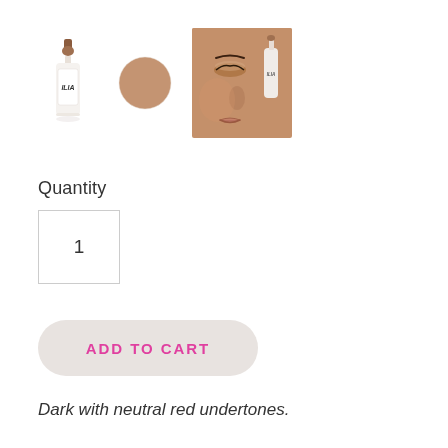[Figure (photo): Three product thumbnails: a white serum bottle with dropper (ILIA brand), a round tan/nude swatch circle, and a close-up photo of a dark-skinned person applying serum to their face.]
Quantity
[Figure (other): Quantity input box showing the number 1]
[Figure (other): Add to Cart button with pink uppercase text on a light gray rounded rectangle background]
Dark with neutral red undertones.